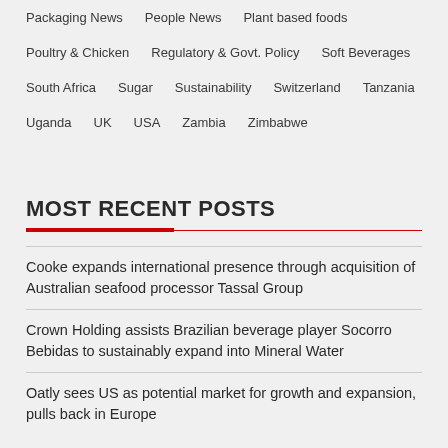Packaging News   People News   Plant based foods
Poultry & Chicken   Regulatory & Govt. Policy   Soft Beverages
South Africa   Sugar   Sustainability   Switzerland   Tanzania
Uganda   UK   USA   Zambia   Zimbabwe
MOST RECENT POSTS
Cooke expands international presence through acquisition of Australian seafood processor Tassal Group
Crown Holding assists Brazilian beverage player Socorro Bebidas to sustainably expand into Mineral Water
Oatly sees US as potential market for growth and expansion, pulls back in Europe